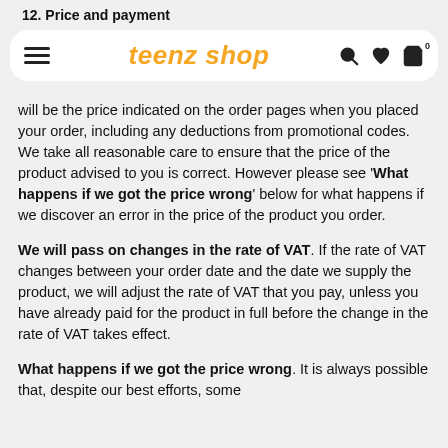12. Price and payment
[Figure (screenshot): teenz shop website navigation bar with hamburger menu, brand name in orange italic, search icon, heart icon, and cart icon with 0 badge]
will be the price indicated on the order pages when you placed your order, including any deductions from promotional codes. We take all reasonable care to ensure that the price of the product advised to you is correct. However please see 'What happens if we got the price wrong' below for what happens if we discover an error in the price of the product you order.
We will pass on changes in the rate of VAT. If the rate of VAT changes between your order date and the date we supply the product, we will adjust the rate of VAT that you pay, unless you have already paid for the product in full before the change in the rate of VAT takes effect.
What happens if we got the price wrong. It is always possible that, despite our best efforts, some